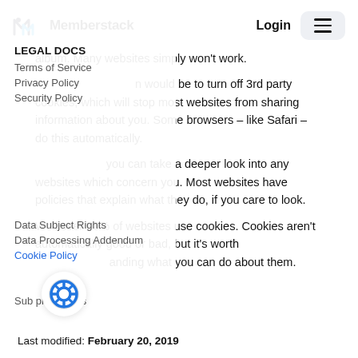Memberstack | Login
album. Many websites simply won't work.
A better option would be to turn off 3rd party cookies, which will stop most websites from sharing information about you. Some browsers – like Safari – do this automatically.
And finally, you can take a deeper look into any websites which concern you. Most websites have policies that explain what they do, if you care to look.
Well over 90% of websites use cookies. Cookies aren't automatically good or bad, but it's worth understanding what you can do about them.
LEGAL DOCS
Terms of Service
Privacy Policy
Security Policy
Data Subject Rights
Data Processing Addendum
Cookie Policy
Sub processors
Last modified: February 20, 2019